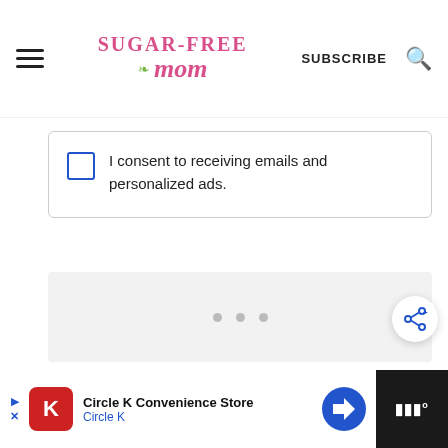Sugar-Free Mom — SUBSCRIBE
I consent to receiving emails and personalized ads.
[Figure (screenshot): Loading placeholder with three grey dots on light grey background]
[Figure (screenshot): Share button — circular white button with blue share/add icon]
[Figure (screenshot): Circle K Convenience Store advertisement banner at bottom of page]